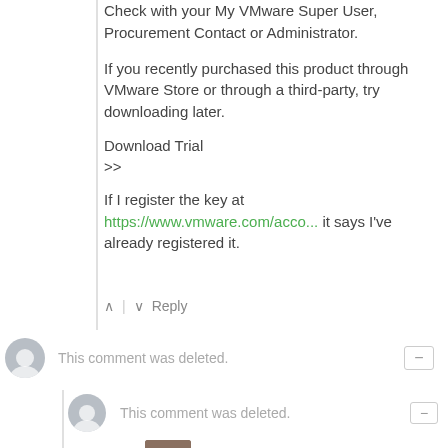Check with your My VMware Super User, Procurement Contact or Administrator.
If you recently purchased this product through VMware Store or through a third-party, try downloading later.
Download Trial
>>
If I register the key at https://www.vmware.com/acco... it says I've already registered it.
This comment was deleted.
This comment was deleted.
Paul Braren | TinkerTry.com → Guest
5 years ago
Ok, deleting, no problem at all.